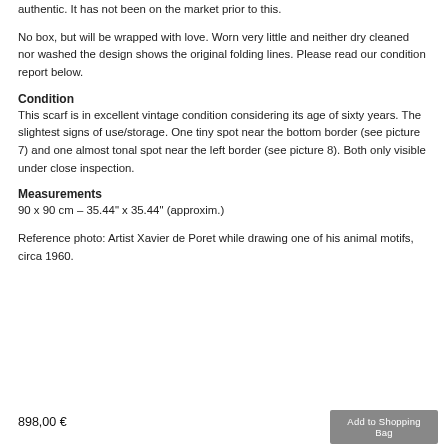Paris" on the bottom right. The fact that it does not bear neither a copyright sign nor a care tag classifies it as being an early issue from 1960.
This scarf belonged to the mother of a German socialite and is guaranteed authentic. It has not been on the market prior to this.
No box, but will be wrapped with love. Worn very little and neither dry cleaned nor washed the design shows the original folding lines. Please read our condition report below.
Condition
This scarf is in excellent vintage condition considering its age of sixty years. The slightest signs of use/storage. One tiny spot near the bottom border (see picture 7) and one almost tonal spot near the left border (see picture 8). Both only visible under close inspection.
Measurements
90 x 90 cm – 35.44" x 35.44" (approxim.)
Reference photo: Artist Xavier de Poret while drawing one of his animal motifs, circa 1960.
898,00 €